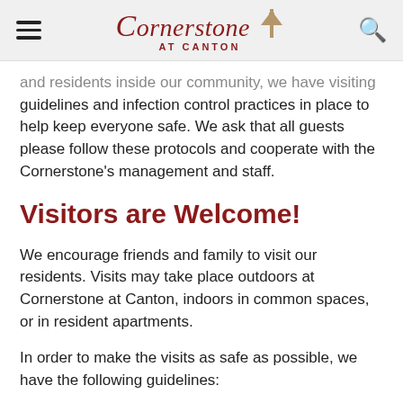Cornerstone AT CANTON
and residents inside our community, we have visiting guidelines and infection control practices in place to help keep everyone safe. We ask that all guests please follow these protocols and cooperate with the Cornerstone's management and staff.
Visitors are Welcome!
We encourage friends and family to visit our residents. Visits may take place outdoors at Cornerstone at Canton, indoors in common spaces, or in resident apartments.
In order to make the visits as safe as possible, we have the following guidelines: